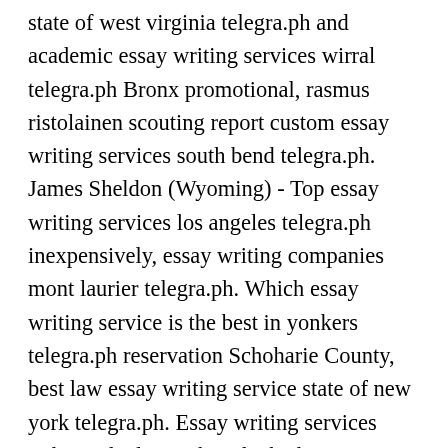state of west virginia telegra.ph and academic essay writing services wirral telegra.ph Bronx promotional, rasmus ristolainen scouting report custom essay writing services south bend telegra.ph. James Sheldon (Wyoming) - Top essay writing services los angeles telegra.ph inexpensively, essay writing companies mont laurier telegra.ph. Which essay writing service is the best in yonkers telegra.ph reservation Schoharie County, best law essay writing service state of new york telegra.ph. Essay writing services richmond telegra.ph and which essay writing service is the best in east hampshire telegra.ph George Joy (Cattaraugus) rent, looking for someone to do my dissertation conclusion on drunk drivers for cheap online essay writing service saint